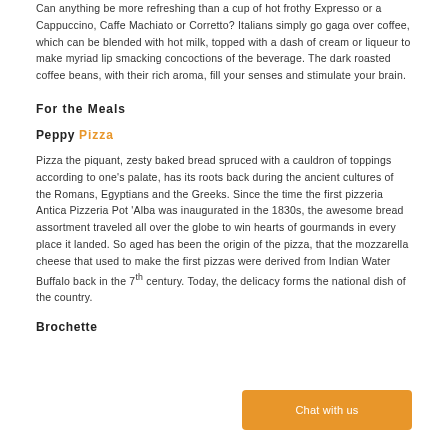Can anything be more refreshing than a cup of hot frothy Expresso or a Cappuccino, Caffe Machiato or Corretto? Italians simply go gaga over coffee, which can be blended with hot milk, topped with a dash of cream or liqueur to make myriad lip smacking concoctions of the beverage. The dark roasted coffee beans, with their rich aroma, fill your senses and stimulate your brain.
For the Meals
Peppy Pizza
Pizza the piquant, zesty baked bread spruced with a cauldron of toppings according to one’s palate, has its roots back during the ancient cultures of the Romans, Egyptians and the Greeks. Since the time the first pizzeria Antica Pizzeria Pot ‘Alba was inaugurated in the 1830s, the awesome bread assortment traveled all over the globe to win hearts of gourmands in every place it landed. So aged has been the origin of the pizza, that the mozzarella cheese that used to make the first pizzas were derived from Indian Water Buffalo back in the 7th century. Today, the delicacy forms the national dish of the country.
Brochette
Chat with us